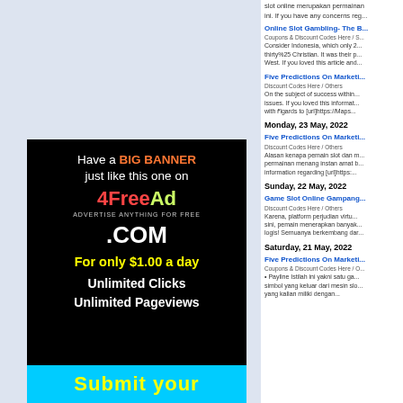slot online merupakan permainan ini. If you have any concerns reg...
Online Slot Gambling- The B...
Coupons & Discount Codes Here / S... Consider Indonesia, which only 2... thirty%25 Christian. It was their p... West. If you loved this article and...
Five Predictions On Marketi...
Discount Codes Here / Others On the subject of success within... issues. If you loved this informat... with rigards to [url]https://Maps...
Monday, 23 May, 2022
Five Predictions On Marketi...
Discount Codes Here / Others Alasan kenapa pemain slot dan m... permainan menang instan amat b... information regarding [url]https:...
Sunday, 22 May, 2022
Game Slot Online Gampang...
Discount Codes Here / Others Karena, platform perjudian virtu... sini, pemain menerapkan banyak... logis! Semuanya berkembang dar...
Saturday, 21 May, 2022
Five Predictions On Marketi...
Coupons & Discount Codes Here / O... • Payline Istilah ini yakni satu ga... simbol yang keluar dari mesin slo... yang kalian miliki dengan...
[Figure (illustration): Black banner advertisement for 4FreeAd.com showing 'Have a BIG BANNER just like this one on 4FreeAd ADVERTISE ANYTHING FOR FREE .COM For only $1.00 a day Unlimited Clicks Unlimited Pageviews' with a cyan bar at bottom showing 'Submit your']